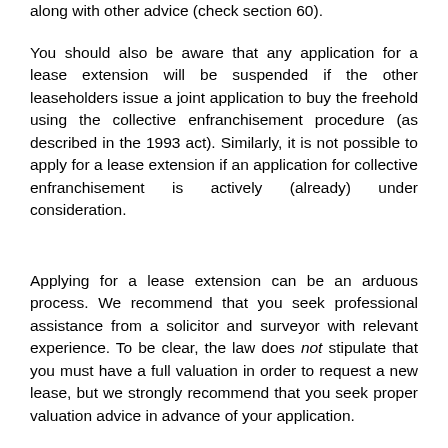along with other advice (check section 60).
You should also be aware that any application for a lease extension will be suspended if the other leaseholders issue a joint application to buy the freehold using the collective enfranchisement procedure (as described in the 1993 act). Similarly, it is not possible to apply for a lease extension if an application for collective enfranchisement is actively (already) under consideration.
Applying for a lease extension can be an arduous process. We recommend that you seek professional assistance from a solicitor and surveyor with relevant experience. To be clear, the law does not stipulate that you must have a full valuation in order to request a new lease, but we strongly recommend that you seek proper valuation advice in advance of your application.